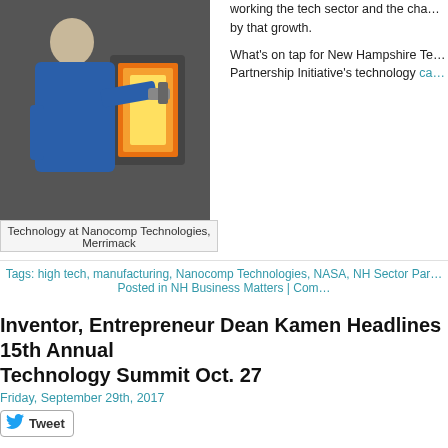[Figure (photo): A man in a blue jacket using a handheld device to examine industrial equipment through a small illuminated window.]
Technology at Nanocomp Technologies, Merrimack
working the tech sector and the cha... by that growth.

What's on tap for New Hampshire Te... Partnership Initiative's technology ca...
Tags: high tech, manufacturing, Nanocomp Technologies, NASA, NH Sector Par... Posted in NH Business Matters | Com...
Inventor, Entrepreneur Dean Kamen Headlines 15th Annual Technology Summit Oct. 27
Friday, September 29th, 2017
Tweet
New Hampshire inventor and innovator Dean Kamen headlines the 15th annual Governor's Advanced Manufacturing and High Technology Summit on Oct. 27, capping the state's first-ever Manufacturing Month that celebrates one of the state's key economic drivers.
[Figure (logo): MANU... DRIVES THE C... — partial manufacturing-themed badge/logo]